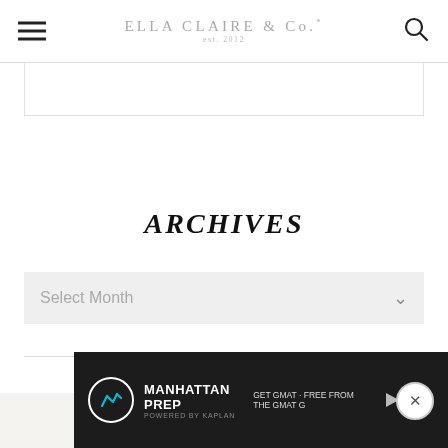ELLA CLAIRE & Co. est. 2012
[Figure (other): Gray empty ad/content bar below header]
ARCHIVES
[Figure (other): Select Month dropdown box with chevron]
[Figure (other): Manhattan Prep advertisement banner at bottom of page with close button]